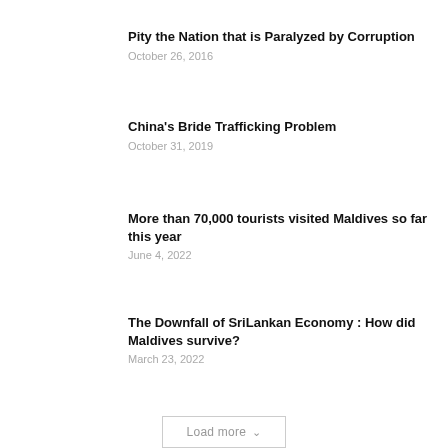Pity the Nation that is Paralyzed by Corruption
October 26, 2016
China's Bride Trafficking Problem
October 31, 2019
More than 70,000 tourists visited Maldives so far this year
June 4, 2022
The Downfall of SriLankan Economy : How did Maldives survive?
March 23, 2022
Load more